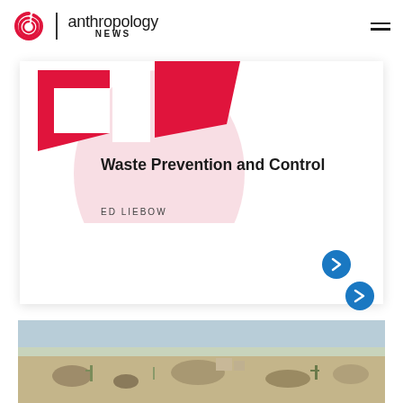anthropology NEWS
Waste Prevention and Control
ED LIEBOW
[Figure (photo): Landscape photo showing sandy/rocky terrain with sparse vegetation, buildings, and a pale sky in the background]